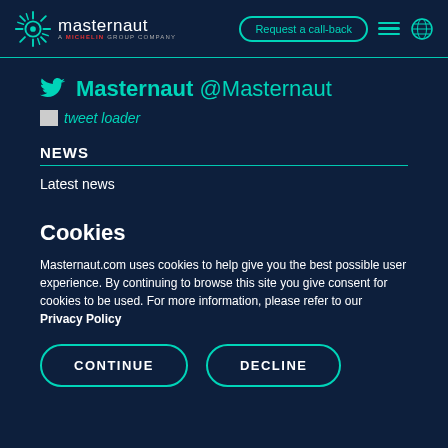masternaut - A MICHELIN GROUP COMPANY | Request a call-back
Masternaut @Masternaut
[Figure (other): Tweet loader placeholder image with text 'tweet loader']
NEWS
Latest news
Cookies
Masternaut.com uses cookies to help give you the best possible user experience. By continuing to browse this site you give consent for cookies to be used. For more information, please refer to our Privacy Policy
CONTINUE | DECLINE